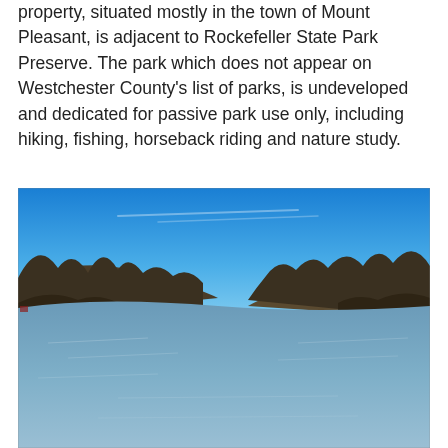property, situated mostly in the town of Mount Pleasant, is adjacent to Rockefeller State Park Preserve. The park which does not appear on Westchester County's list of parks, is undeveloped and dedicated for passive park use only, including hiking, fishing, horseback riding and nature study.
[Figure (photo): Outdoor landscape photo of a calm river or reservoir flanked by bare deciduous trees on rolling hills under a vivid blue sky with a few faint cloud streaks.]